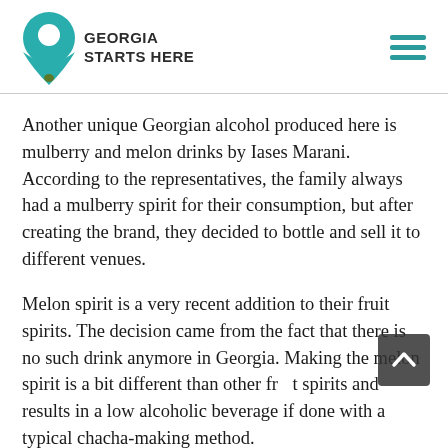[Figure (logo): Georgia Starts Here logo: teal map pin / lightbulb icon with text 'Georgia Starts Here' in bold uppercase sans-serif]
Another unique Georgian alcohol produced here is mulberry and melon drinks by Iases Marani. According to the representatives, the family always had a mulberry spirit for their consumption, but after creating the brand, they decided to bottle and sell it to different venues.
Melon spirit is a very recent addition to their fruit spirits. The decision came from the fact that there is no such drink anymore in Georgia. Making the melon spirit is a bit different than other fruit spirits and results in a low alcoholic beverage if done with a typical chacha-making method.